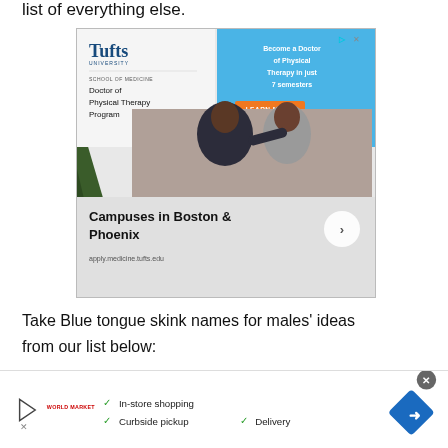list of everything else.
[Figure (photo): Tufts University School of Medicine Doctor of Physical Therapy Program advertisement. Shows two women, one patient and one therapist. Text reads: Become a Doctor of Physical Therapy in just 7 semesters. Campuses in Boston & Phoenix. apply.medicine.tufts.edu. LEARN MORE button.]
Take Blue tongue skink names for males' ideas from our list below:
[Figure (infographic): Bottom banner advertisement showing World Market store with checkmarks for In-store shopping, Curbside pickup, and Delivery. Blue diamond navigation icon on right.]